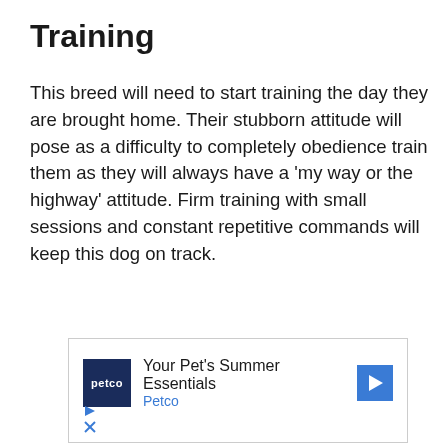Training
This breed will need to start training the day they are brought home. Their stubborn attitude will pose as a difficulty to completely obedience train them as they will always have a 'my way or the highway' attitude. Firm training with small sessions and constant repetitive commands will keep this dog on track.
[Figure (other): Advertisement for Petco showing 'Your Pet's Summer Essentials' with Petco logo, blue navigation arrow, play and close controls]